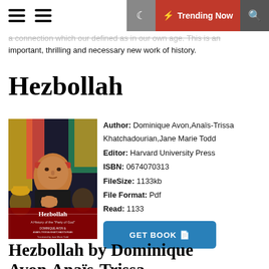Trending Now
a connection which our defined as in our own age. This is an important, thrilling and necessary new work of history.
Hezbollah
[Figure (photo): Book cover of Hezbollah: A History of the 'Party of God' by Dominique Avon and Anaïs-Trissa Khatchadourian, translated by Jane Marie Todd. Shows a man with red headband in a crowd with flags.]
Author: Dominique Avon, Anaïs-Trissa Khatchadourian, Jane Marie Todd
Editor: Harvard University Press
ISBN: 0674070313
FileSize: 1133kb
File Format: Pdf
Read: 1133
GET BOOK
Hezbollah by Dominique Avon,Anaïs-Trissa